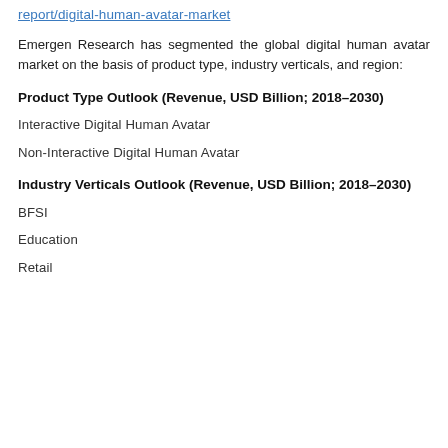report/digital-human-avatar-market
Emergen Research has segmented the global digital human avatar market on the basis of product type, industry verticals, and region:
Product Type Outlook (Revenue, USD Billion; 2018–2030)
Interactive Digital Human Avatar
Non-Interactive Digital Human Avatar
Industry Verticals Outlook (Revenue, USD Billion; 2018–2030)
BFSI
Education
Retail